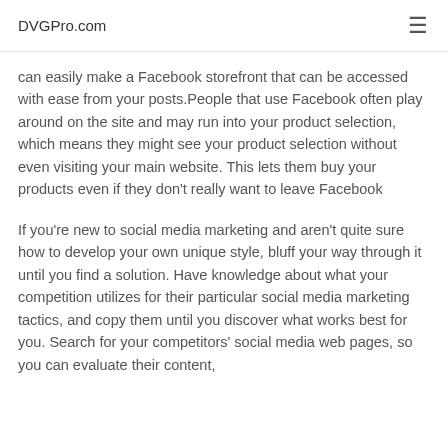DVGPro.com
can easily make a Facebook storefront that can be accessed with ease from your posts.People that use Facebook often play around on the site and may run into your product selection, which means they might see your product selection without even visiting your main website. This lets them buy your products even if they don't really want to leave Facebook
If you're new to social media marketing and aren't quite sure how to develop your own unique style, bluff your way through it until you find a solution. Have knowledge about what your competition utilizes for their particular social media marketing tactics, and copy them until you discover what works best for you. Search for your competitors' social media web pages, so you can evaluate their content,